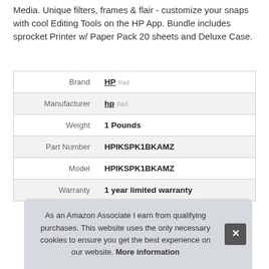Media. Unique filters, frames & flair - customize your snaps with cool Editing Tools on the HP App. Bundle includes sprocket Printer w/ Paper Pack 20 sheets and Deluxe Case.
| Brand | HP #ad |
| Manufacturer | hp #ad |
| Weight | 1 Pounds |
| Part Number | HPIKSPK1BKAMZ |
| Model | HPIKSPK1BKAMZ |
| Warranty | 1 year limited warranty |
As an Amazon Associate I earn from qualifying purchases. This website uses the only necessary cookies to ensure you get the best experience on our website. More information